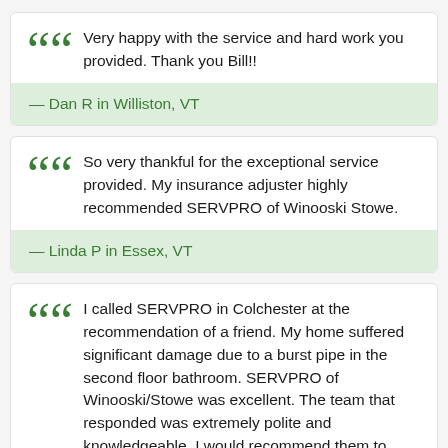Very happy with the service and hard work you provided. Thank you Bill!!
— Dan R in Williston, VT
So very thankful for the exceptional service provided. My insurance adjuster highly recommended SERVPRO of Winooski Stowe.
— Linda P in Essex, VT
I called SERVPRO in Colchester at the recommendation of a friend. My home suffered significant damage due to a burst pipe in the second floor bathroom. SERVPRO of Winooski/Stowe was excellent. The team that responded was extremely polite and knowledgeable. I would recommend them to